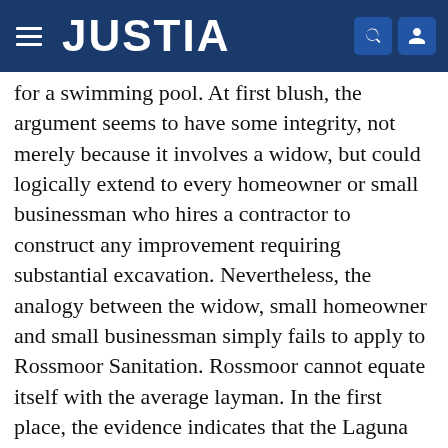JUSTIA
for a swimming pool. At first blush, the argument seems to have some integrity, not merely because it involves a widow, but could logically extend to every homeowner or small businessman who hires a contractor to construct any improvement requiring substantial excavation. Nevertheless, the analogy between the widow, small homeowner and small businessman simply fails to apply to Rossmoor Sanitation. Rossmoor cannot equate itself with the average layman. In the first place, the evidence indicates that the Laguna Hills development was a building project of great magnitude; in actuality, it involved the creation of what could be characterized as a city. Rossmoor Sanitation undertook a significant role in this grand-scale development. [19 Cal. App. 3d 747] Unlike the ordinary person, its officials and employees were knowledgeable in all phases of construction work and recognized, or should have